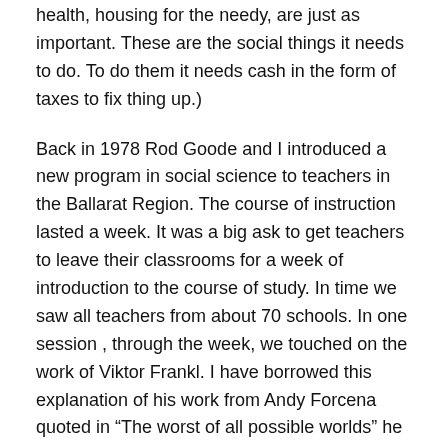health, housing for the needy, are just as important. These are the social things it needs to do. To do them it needs cash in the form of taxes to fix thing up.)
Back in 1978 Rod Goode and I introduced a new program in social science to teachers in the Ballarat Region. The course of instruction lasted a week. It was a big ask to get teachers to leave their classrooms for a week of introduction to the course of study. In time we saw all teachers from about 70 schools. In one session , through the week, we touched on the work of Viktor Frankl. I have borrowed this explanation of his work from Andy Forcena quoted in “The worst of all possible worlds” he wrote
In his book Man’s Search for Meaning, the Psychologist Viktor Frankl posits the necessity of meaning for survival. As a survivor of the Nazi concentration camps, he has a unique and first-hand perspective on suffering, horror, and evil. He notes that many of the prisoners who died in